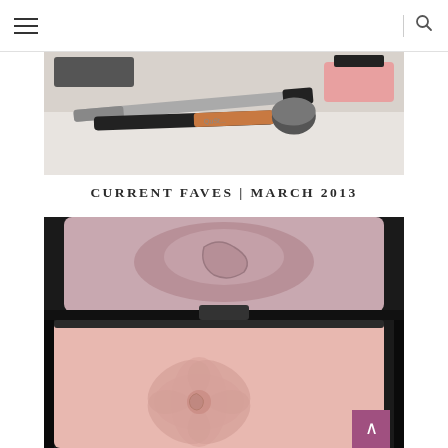Navigation menu and search
[Figure (photo): Close-up photo of makeup brushes including a black handled brush and a rose-gold handled fluffy brush on a white surface]
CURRENT FAVES | MARCH 2013
[Figure (photo): Close-up macro photo of a pink powder blush compact with a rose embossed pattern in a black case, with another pink eyeshadow visible in the upper portion]